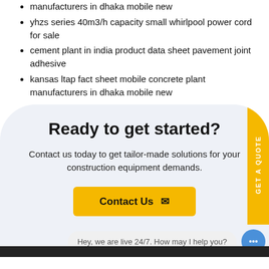manufacturers in dhaka mobile new
yhzs series 40m3/h capacity small whirlpool power cord for sale
cement plant in india product data sheet pavement joint adhesive
kansas ltap fact sheet mobile concrete plant manufacturers in dhaka mobile new
Ready to get started?
Contact us today to get tailor-made solutions for your construction equipment demands.
Contact Us
Hey, we are live 24/7. How may I help you?